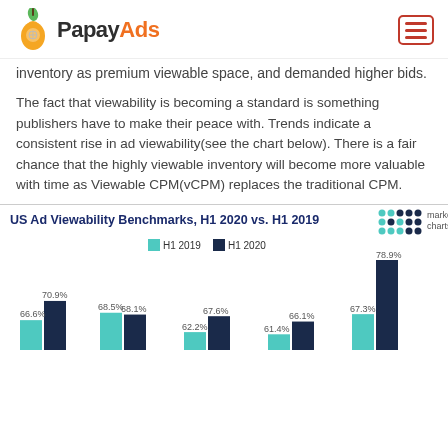PapayAds
inventory as premium viewable space, and demanded higher bids.
The fact that viewability is becoming a standard is something publishers have to make their peace with. Trends indicate a consistent rise in ad viewability(see the chart below). There is a fair chance that the highly viewable inventory will become more valuable with time as Viewable CPM(vCPM) replaces the traditional CPM.
[Figure (grouped-bar-chart): US Ad Viewability Benchmarks, H1 2020 vs. H1 2019]